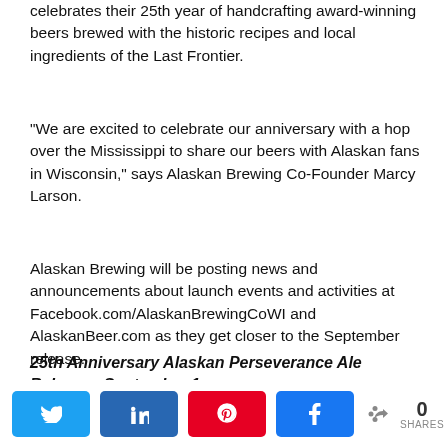celebrates their 25th year of handcrafting award-winning beers brewed with the historic recipes and local ingredients of the Last Frontier.
“We are excited to celebrate our anniversary with a hop over the Mississippi to share our beers with Alaskan fans in Wisconsin,” says Alaskan Brewing Co-Founder Marcy Larson.
Alaskan Brewing will be posting news and announcements about launch events and activities at Facebook.com/AlaskanBrewingCoWI and AlaskanBeer.com as they get closer to the September release.
25th Anniversary Alaskan Perseverance Ale Releases September 1
Share buttons: Twitter, LinkedIn, Pinterest, Facebook | 0 SHARES